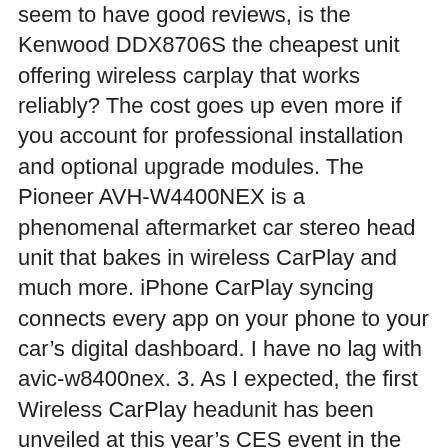seem to have good reviews, is the Kenwood DDX8706S the cheapest unit offering wireless carplay that works reliably? The cost goes up even more if you account for professional installation and optional upgrade modules. The Pioneer AVH-W4400NEX is a phenomenal aftermarket car stereo head unit that bakes in wireless CarPlay and much more. iPhone CarPlay syncing connects every app on your phone to your car's digital dashboard. I have no lag with avic-w8400nex. 3. As I expected, the first Wireless CarPlay headunit has been unveiled at this year's CES event in the USA.. I bought the Carlinkit 2 from Amazon for wireless CarPlay, and it's worked surprisingly well (it does drain the battery quicker than I'd like, though). Is half the cost (or, depending on your iPhone model, the whole cost) of your phone worth having CarPlay access in the car? Why not move back to wired then? Mine was called CAR-LINK, once connecting it changes to something like zjinnova-D310C 4. Iâm super geeked about this. The pioneers at the bottom of the list sell in the UK at least. Individually, the features I want exist in different decks, but not together. Go to SETTINGS and select Wi-Fi